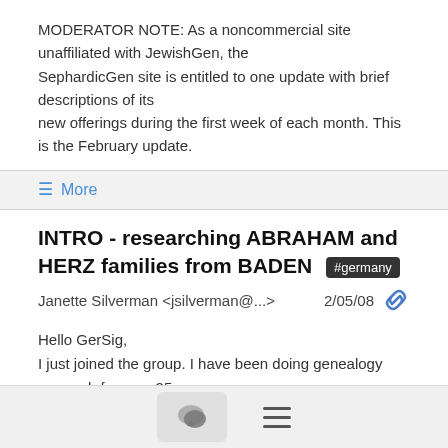MODERATOR NOTE:  As a noncommercial site unaffiliated with JewishGen, the SephardicGen site is entitled to one update with brief descriptions of its new offerings during the first week of each month.  This is the February update.
≡ More
INTRO - researching ABRAHAM and HERZ families from BADEN #germany
Janette Silverman <jsilverman@...>    2/05/08
Hello GerSig,
I just joined the group.  I have been doing genealogy research for over 25 years.
I consider myself to be a beginner in doing German Jewish Genealogy research.